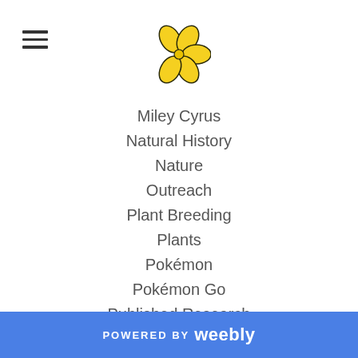[Figure (logo): Yellow flower logo icon in center of header]
Miley Cyrus
Natural History
Nature
Outreach
Plant Breeding
Plants
Pokémon
Pokémon Go
Published Research
Science Communication
Science News
Scientific Meetings
Scientists
Teaching
The Legend Of Zelda
Twitter
UnSexy Five (partially visible)
POWERED BY weebly